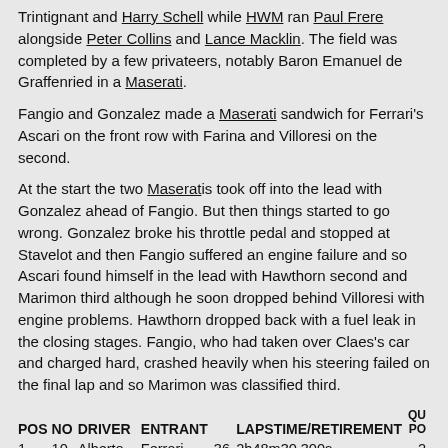Trintignant and Harry Schell while HWM ran Paul Frere alongside Peter Collins and Lance Macklin. The field was completed by a few privateers, notably Baron Emanuel de Graffenried in a Maserati.
Fangio and Gonzalez made a Maserati sandwich for Ferrari's Ascari on the front row with Farina and Villoresi on the second.
At the start the two Maseratis took off into the lead with Gonzalez ahead of Fangio. But then things started to go wrong. Gonzalez broke his throttle pedal and stopped at Stavelot and then Fangio suffered an engine failure and so Ascari found himself in the lead with Hawthorn second and Marimon third although he soon dropped behind Villoresi with engine problems. Hawthorn dropped back with a fuel leak in the closing stages. Fangio, who had taken over Claes's car and charged hard, crashed heavily when his steering failed on the final lap and so Marimon was classified third.
| POS | NO | DRIVER | ENTRANT | LAPS | TIME/RETIREMENT | QU PO |
| --- | --- | --- | --- | --- | --- | --- |
| 1 | 10 | Alberto Ascari | Ferrari 500 | 36 | 2h48m30.300s | 2 |